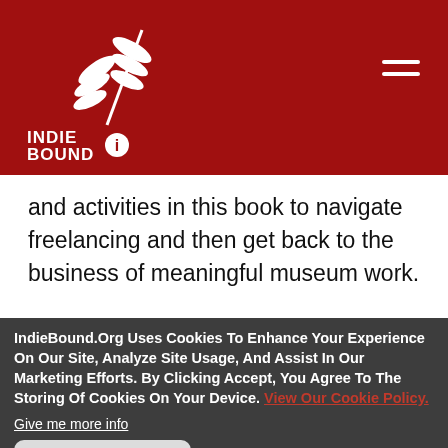[Figure (logo): IndieBound logo on red background with hamburger menu icon top right]
and activities in this book to navigate freelancing and then get back to the business of meaningful museum work.
Rowman & Littlefield Publishers,
9781538118603, 386pp
IndieBound.Org Uses Cookies To Enhance Your Experience On Our Site, Analyze Site Usage, And Assist In Our Marketing Efforts. By Clicking Accept, You Agree To The Storing Of Cookies On Your Device. View Our Cookie Policy.
Give me more info
Accept all Cookies